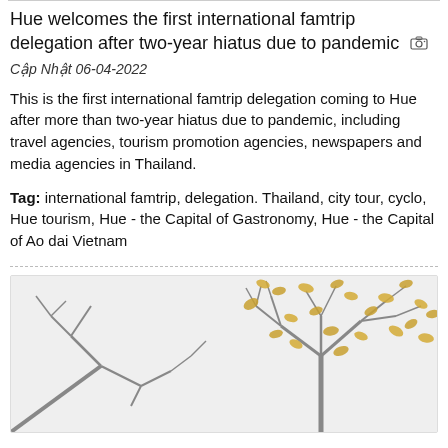Hue welcomes the first international famtrip delegation after two-year hiatus due to pandemic
Cập Nhật 06-04-2022
This is the first international famtrip delegation coming to Hue after more than two-year hiatus due to pandemic, including travel agencies, tourism promotion agencies, newspapers and media agencies in Thailand.
Tag: international famtrip, delegation. Thailand, city tour, cyclo, Hue tourism, Hue - the Capital of Gastronomy, Hue - the Capital of Ao dai Vietnam
[Figure (illustration): Decorative illustration showing bare tree branches with golden/yellow leaf-like shapes against a light grey background]